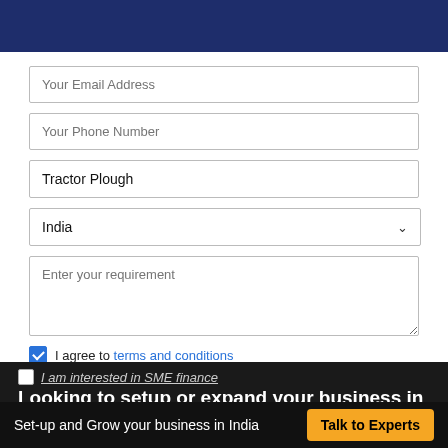[Figure (screenshot): Dark blue header bar at top of page]
Your Email Address
Your Phone Number
Tractor Plough
India
Enter your requirement
I agree to terms and conditions
I am interested in SME finance
Looking to setup or expand your business in India?
Set-up and Grow your business in India
Talk to Experts